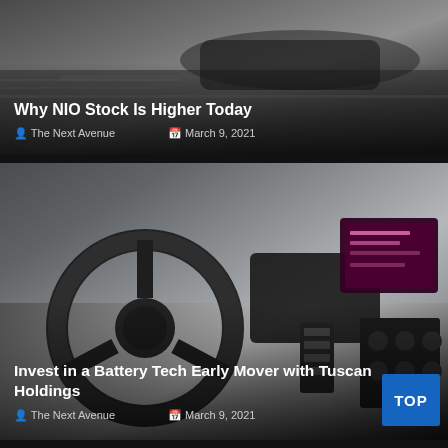[Figure (photo): Blurred car driving on road, dark background, motion blur effect]
Why NIO Stock Is Higher Today
The Next Avenue   March 9, 2021
[Figure (photo): Interior of a vehicle/truck dashboard with steering wheel, controls, and digital display screen]
Invest in a Battery Tech Early Mover with Tuscan Holdings
The Next Avenue   March 9, 2021
[Figure (photo): Partial view of another vehicle interior, bottom of page]